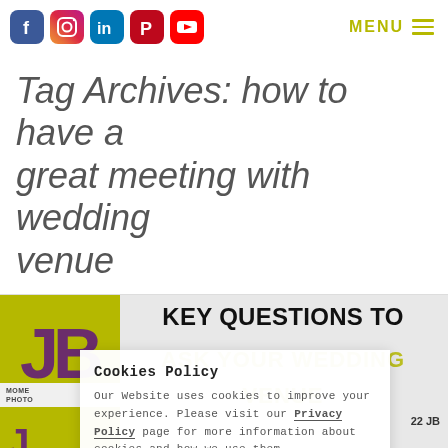Social icons (Facebook, Instagram, LinkedIn, Pinterest, YouTube) | MENU
Tag Archives: how to have a great meeting with wedding venue
[Figure (screenshot): Blog post thumbnail showing JB Moments Photography logo on olive/yellow background with heading KEY QUESTIONS TO ASK YOUR WEDDING VENUE]
Cookies Policy
Our Website uses cookies to improve your experience. Please visit our Privacy Policy page for more information about cookies and how we use them.